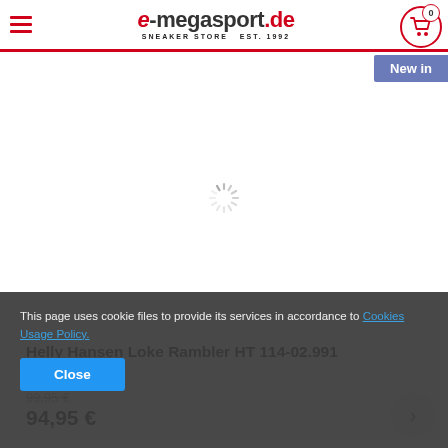e-megasport.de SNEAKER STORE EST. 1992
New in
[Figure (screenshot): Loading spinner (animated circle) in center of product image area on white background]
Helly Hansen Loke Rambler HT 114-02.991
99,95 €
94,95 €
This page uses cookie files to provide its services in accordance to Cookies Usage Policy.
Close